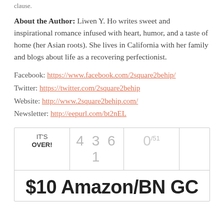clause.
About the Author: Liwen Y. Ho writes sweet and inspirational romance infused with heart, humor, and a taste of home (her Asian roots). She lives in California with her family and blogs about life as a recovering perfectionist.
Facebook: https://www.facebook.com/2square2behip/
Twitter: https://twitter.com/2square2behip
Website: http://www.2square2behip.com/
Newsletter: http://eepurl.com/bt2nEL
| IT'S OVER! | 4 3 6 1 | 0/51 |  |
| --- | --- | --- | --- |
| $10 Amazon/BN GC |  |  |  |